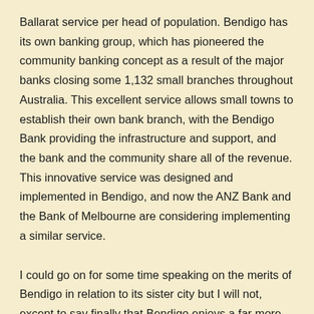Ballarat service per head of population. Bendigo has its own banking group, which has pioneered the community banking concept as a result of the major banks closing some 1,132 small branches throughout Australia. This excellent service allows small towns to establish their own bank branch, with the Bendigo Bank providing the infrastructure and support, and the bank and the community share all of the revenue. This innovative service was designed and implemented in Bendigo, and now the ANZ Bank and the Bank of Melbourne are considering implementing a similar service.
I could go on for some time speaking on the merits of Bendigo in relation to its sister city but I will not, except to say finally that Bendigo enjoys a far more attractive climate than does Ballarat. In fact, I recently had the pleasure of being in that city when it actually stopped raining, but that was only because it hailed.